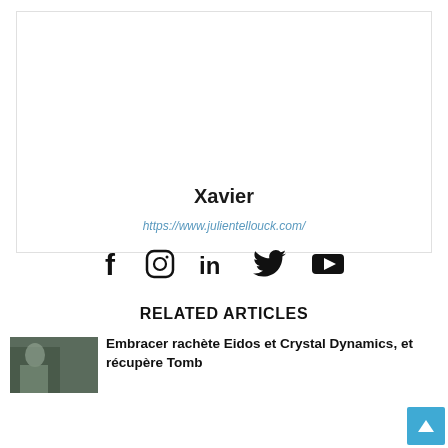[Figure (illustration): Default avatar placeholder: grey square with white silhouette of a person (head circle and shoulders)]
Xavier
https://www.julientellouck.com/
[Figure (infographic): Five social media icons in a row: Facebook (f), Instagram (camera circle), LinkedIn (in), Twitter (bird), YouTube (play button)]
RELATED ARTICLES
[Figure (photo): Thumbnail image for related article about Embracer/Eidos/Crystal Dynamics/Tomb Raider]
Embracer rachète Eidos et Crystal Dynamics, et récupère Tomb